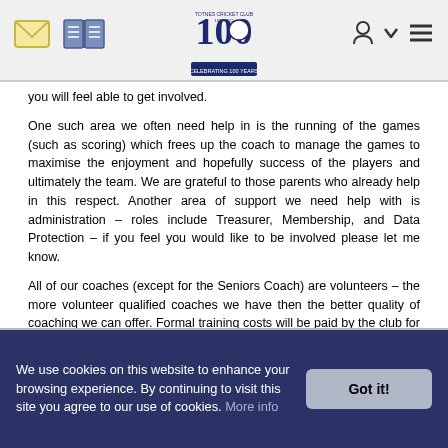[Navigation header with logo, mail icon, book icon, user icon, and menu icon]
you will feel able to get involved.
One such area we often need help in is the running of the games (such as scoring) which frees up the coach to manage the games to maximise the enjoyment and hopefully success of the players and ultimately the team. We are grateful to those parents who already help in this respect. Another area of support we need help with is administration – roles include Treasurer, Membership, and Data Protection – if you feel you would like to be involved please let me know.
All of our coaches (except for the Seniors Coach) are volunteers – the more volunteer qualified coaches we have then the better quality of coaching we can offer. Formal training costs will be paid by the club for all coaching courses – all we ask back in return is for some time helping out on a Sunday morning or at matches.
We use cookies on this website to enhance your browsing experience. By continuing to visit this site you agree to our use of cookies. More info